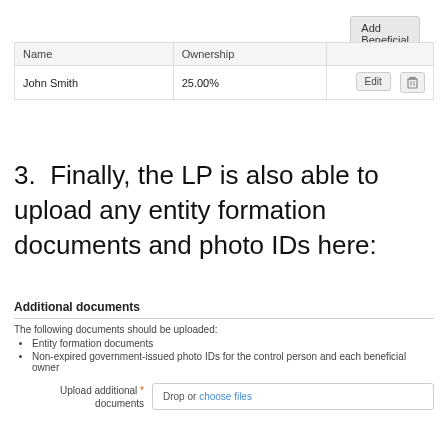[Figure (screenshot): Add Beneficial Owner button in top-right area]
| Name | Ownership |  |
| --- | --- | --- |
| John Smith | 25.00% | Edit | [delete] |
3.  Finally, the LP is also able to upload any entity formation documents and photo IDs here:
Additional documents
The following documents should be uploaded:
Entity formation documents
Non-expired government-issued photo IDs for the control person and each beneficial owner
Upload additional documents  Drop or choose files